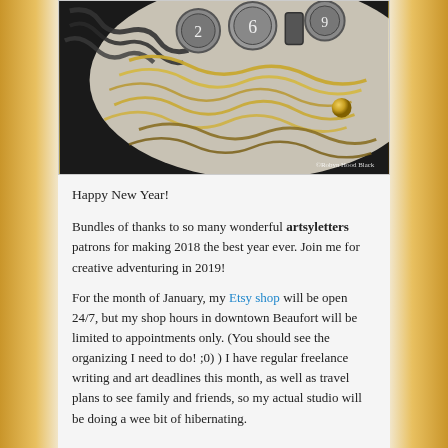[Figure (photo): Photo of gold and dark metal chains arranged on a light surface, with vintage numbered typewriter keys (2, 6, 9) visible. A gold bead accent is visible. Photo credit: ©Robyn Hood Black]
Happy New Year!
Bundles of thanks to so many wonderful artsyletters patrons for making 2018 the best year ever. Join me for creative adventuring in 2019!
For the month of January, my Etsy shop will be open 24/7, but my shop hours in downtown Beaufort will be limited to appointments only. (You should see the organizing I need to do! ;0) ) I have regular freelance writing and art deadlines this month, as well as travel plans to see family and friends, so my actual studio will be doing a wee bit of hibernating.